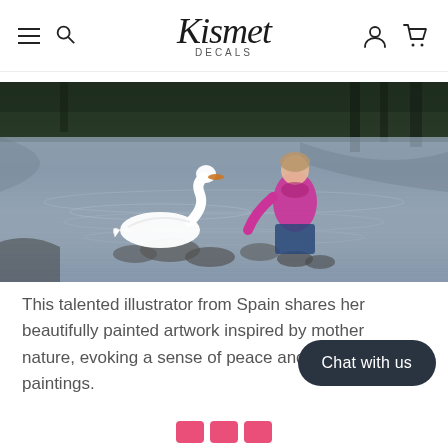Kismet Decals — navigation header with hamburger menu, search, user and cart icons
[Figure (photo): Woman in pink jacket crouching near a lake feeding a white swan, with dark tree reflections in the water]
This talented illustrator from Spain shares her beautifully painted artwork inspired by mother nature, evoking a sense of peace and each of her paintings.